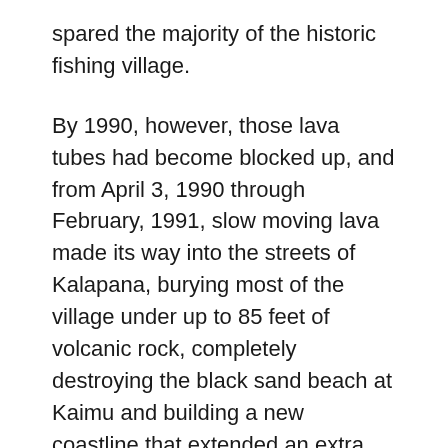spared the majority of the historic fishing village.
By 1990, however, those lava tubes had become blocked up, and from April 3, 1990 through February, 1991, slow moving lava made its way into the streets of Kalapana, burying most of the village under up to 85 feet of volcanic rock, completely destroying the black sand beach at Kaimu and building a new coastline that extended an extra 1000 feet into the ocean. More than 150 homes were destroyed, but no lives were lost. More photos and history of this event can be found at the USGS web site and here.